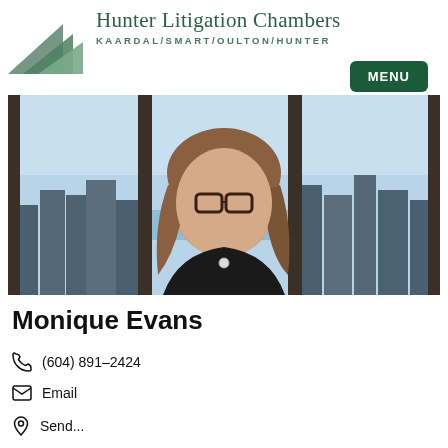Hunter Litigation Chambers KAARDAL/SMART/OULTON/HUNTER
[Figure (logo): Hunter Litigation Chambers logo with green triangles and text KAARDAL/SMART/OULTON/HUNTER]
[Figure (photo): Professional portrait photo of Monique Evans, a woman with long brown hair and glasses, wearing a black top, with a city skyline visible through large windows behind her]
Monique Evans
(604) 891-2424
Email
Send...